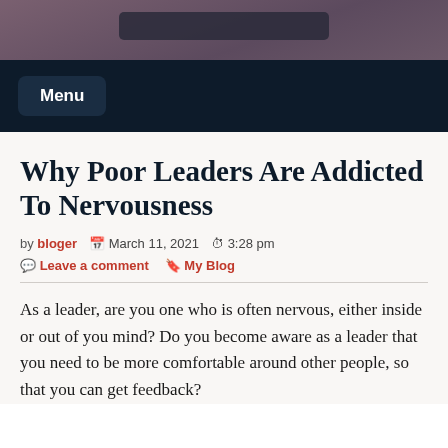[Figure (photo): Header image with dark purple/mauve textured background and a dark navigation bar element at top]
Menu
Why Poor Leaders Are Addicted To Nervousness
by bloger  March 11, 2021  3:28 pm
Leave a comment  My Blog
As a leader, are you one who is often nervous, either inside or out of you mind? Do you become aware as a leader that you need to be more comfortable around other people, so that you can get feedback?